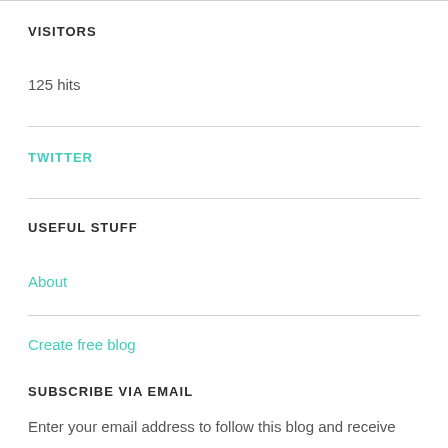VISITORS
125 hits
TWITTER
USEFUL STUFF
About
Create free blog
SUBSCRIBE VIA EMAIL
Enter your email address to follow this blog and receive